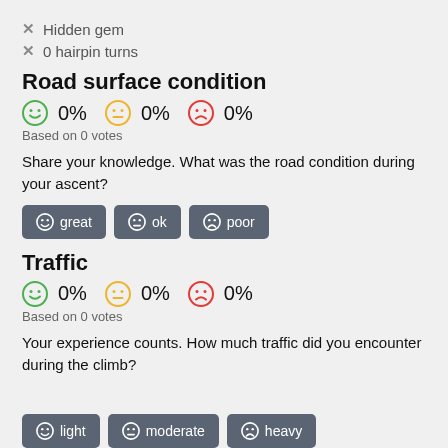✕ Hidden gem
✕ 0 hairpin turns
Road surface condition
😊 0%  🙂 0%  😞 0%
Based on 0 votes
Share your knowledge. What was the road condition during your ascent?
great  ok  poor
Traffic
😊 0%  🙂 0%  😞 0%
Based on 0 votes
Your experience counts. How much traffic did you encounter during the climb?
light  moderate  heavy